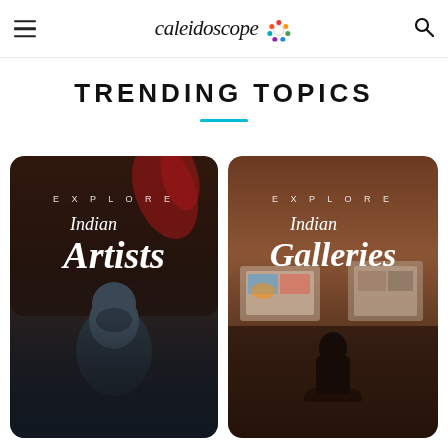Caleidoscope
TRENDING TOPICS
[Figure (photo): Card with photo of Indian artist statue and text: EXPLORE / Indian Artists]
[Figure (photo): Card with photo of person in art gallery and text: EXPLORE / Indian Galleries]